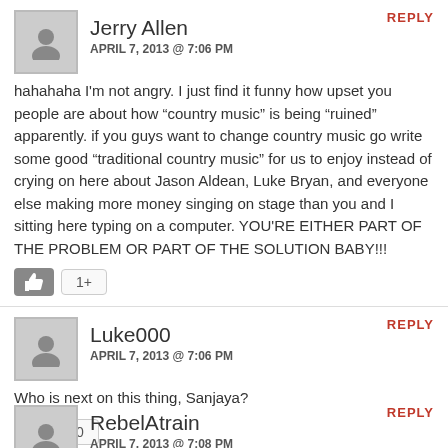REPLY
Jerry Allen
APRIL 7, 2013 @ 7:06 PM
hahahaha I'm not angry. I just find it funny how upset you people are about how “country music” is being “ruined” apparently. if you guys want to change country music go write some good “traditional country music” for us to enjoy instead of crying on here about Jason Aldean, Luke Bryan, and everyone else making more money singing on stage than you and I sitting here typing on a computer. YOU'RE EITHER PART OF THE PROBLEM OR PART OF THE SOLUTION BABY!!!
1+
REPLY
Luke000
APRIL 7, 2013 @ 7:06 PM
Who is next on this thing, Sanjaya?
0
REPLY
RebelAtrain
APRIL 7, 2013 @ 7:08 PM